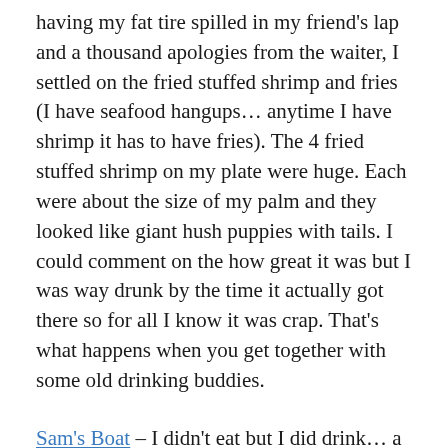having my fat tire spilled in my friend's lap and a thousand apologies from the waiter, I settled on the fried stuffed shrimp and fries (I have seafood hangups… anytime I have shrimp it has to have fries). The 4 fried stuffed shrimp on my plate were huge. Each were about the size of my palm and they looked like giant hush puppies with tails. I could comment on the how great it was but I was way drunk by the time it actually got there so for all I know it was crap. That's what happens when you get together with some old drinking buddies.
Sam's Boat – I didn't eat but I did drink… a lot. It felt wierd being in a college bar many years out of school. My partner in crime agreed. The